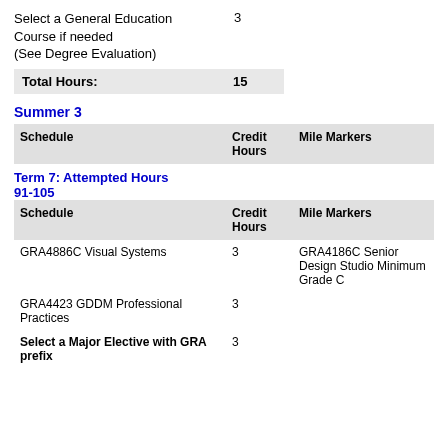Select a General Education Course if needed
(See Degree Evaluation)
3
| Total Hours: | 15 |
| --- | --- |
Summer 3
| Schedule | Credit Hours | Mile Markers |
| --- | --- | --- |
Term 7: Attempted Hours 91-105
| Schedule | Credit Hours | Mile Markers |
| --- | --- | --- |
| GRA4886C Visual Systems | 3 | GRA4186C Senior Design Studio Minimum Grade C |
| GRA4423 GDDM Professional Practices | 3 |  |
| Select a Major Elective with GRA prefix | 3 |  |